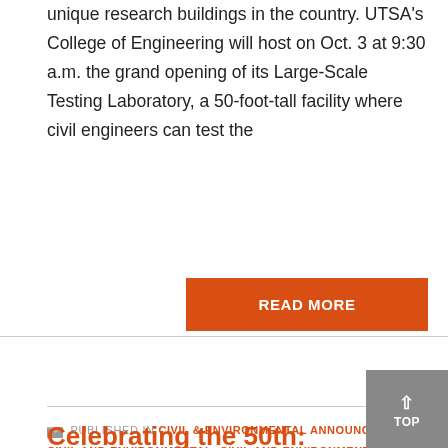unique research buildings in the country. UTSA's College of Engineering will host on Oct. 3 at 9:30 a.m. the grand opening of its Large-Scale Testing Laboratory, a 50-foot-tall facility where civil engineers can test the
READ MORE
PUBLISHED IN CIVIL & ENVIRONMENTAL ANNOUNCEMENTS, CIVIL AND ENVIRONMENTAL, CIVIL AND ENVIRONMENTAL ENGINEERING, COE ANNOUNCEMENTS, GENERAL, NEWS, UTSA COE
NO COMMENTS
Celebrating the 50th: engineering